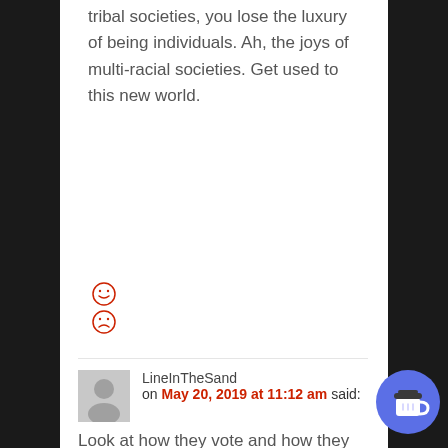tribal societies, you lose the luxury of being individuals. Ah, the joys of multi-racial societies. Get used to this new world.
[Figure (other): Two red sad/neutral face emoji icons stacked vertically]
LineInTheSand on May 20, 2019 at 11:12 am said:
Look at how they vote and how they donate. Whites